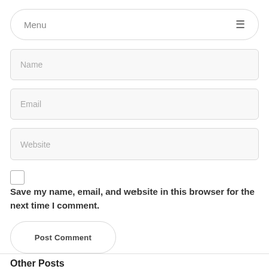Menu
Name
Email
Website
Save my name, email, and website in this browser for the next time I comment.
Post Comment
Other Posts